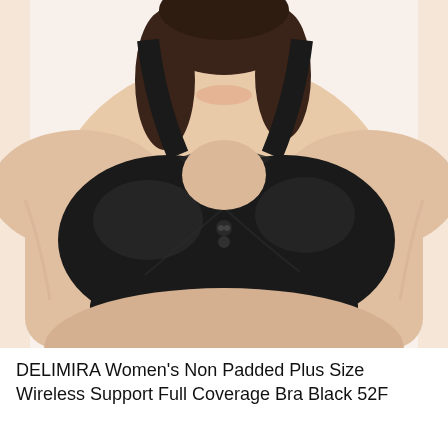[Figure (photo): A plus-size woman wearing a black wireless full coverage bra by DELIMIRA. The bra is non-padded and shown on a white background. The model is smiling and photographed from the waist up.]
DELIMIRA Women's Non Padded Plus Size Wireless Support Full Coverage Bra Black 52F